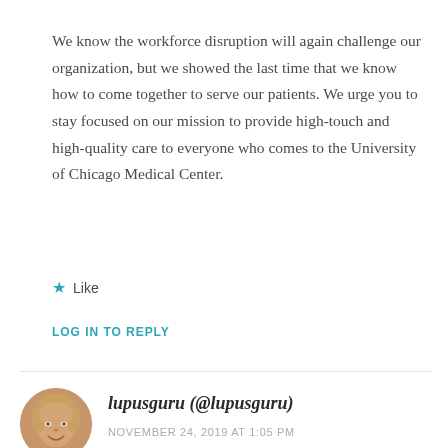We know the workforce disruption will again challenge our organization, but we showed the last time that we know how to come together to serve our patients. We urge you to stay focused on our mission to provide high-touch and high-quality care to everyone who comes to the University of Chicago Medical Center.
★ Like
LOG IN TO REPLY
lupusguru (@lupusguru)
NOVEMBER 24, 2019 AT 1:05 PM